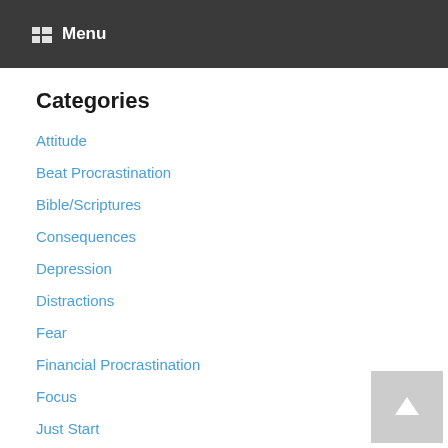Menu
Categories
Attitude
Beat Procrastination
Bible/Scriptures
Consequences
Depression
Distractions
Fear
Financial Procrastination
Focus
Just Start
Making Decisions
Perfectionism
Role Models